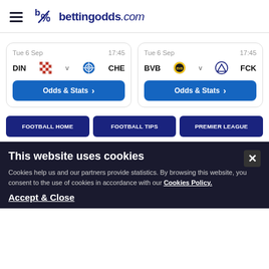bettingodds.com
Tue 6 Sep  17:45  DIN v CHE  Odds & Stats
Tue 6 Sep  17:45  BVB v FCK  Odds & Stats
FOOTBALL HOME
FOOTBALL TIPS
PREMIER LEAGUE
This website uses cookies
Cookies help us and our partners provide statistics. By browsing this website, you consent to the use of cookies in accordance with our Cookies Policy.
Accept & Close